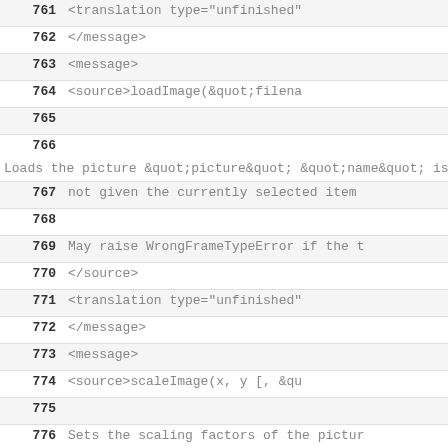761    <translation type="unfinished"
762        </message>
763        <message>
764            <source>loadImage(&quot;filena
765
766 Loads the picture &quot;picture&quot; &quot;name&quot; is
767 not given the currently selected item
768
769 May raise WrongFrameTypeError if the t
770 </source>
771            <translation type="unfinished"
772        </message>
773        <message>
774            <source>scaleImage(x, y [, &qu
775
776 Sets the scaling factors of the pictur
777 If &quot;name&quot; is not given the c 1
778 means 100 %.
779
780 May raise WrongFrameTypeError if the